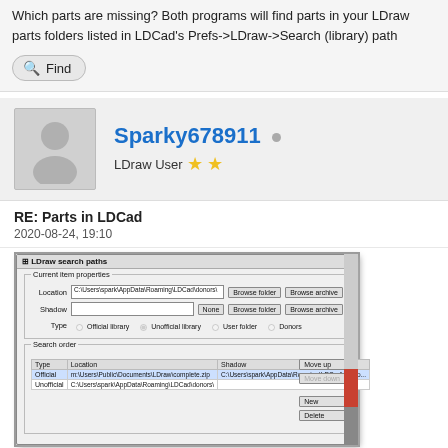Which parts are missing? Both programs will find parts in your LDraw parts folders listed in LDCad's Prefs->LDraw->Search (library) path
Find
Sparky678911
LDraw User ★★
RE: Parts in LDCad
2020-08-24, 19:10
[Figure (screenshot): Screenshot of LDraw search paths dialog with Current item properties and Search order sections showing Official and Unofficial library entries]